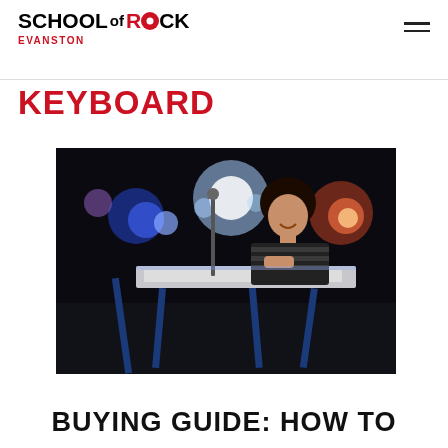School of Rock - EVANSTON
KEYBOARD
[Figure (photo): Young person playing keyboard/synthesizer on a dark concert stage with colorful stage lighting including blue and red lights in the background]
BUYING GUIDE: HOW TO